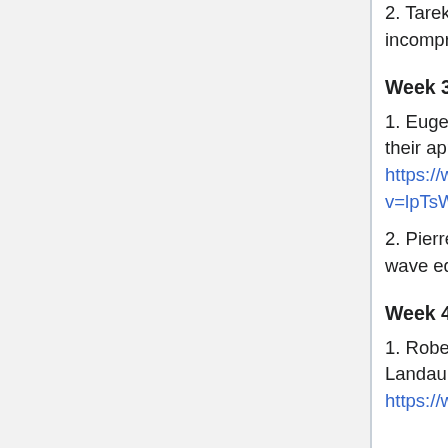2. Tarek Elgindi - Singularity formation in incompressible fluids. https://youtu.be/29zUjm7xFII
Week 3 (9/13/2020-9/19/2020)
1. Eugenia Malinnikova - Two questions of Landis and their applications. https://www.youtube.com/watch?v=lpTsW1noWTQ
2. Pierre Germain - On the derivation of the kinetic wave equation. https://youtu.be/ZbCjKwQ3KcE
Week 4 (9/20/2020-9/26/2020)
1. Robert M. Strain - Global mild solutions of the Landau and non-cutoff Boltzmann equation. https://www.youtube.com/watch?